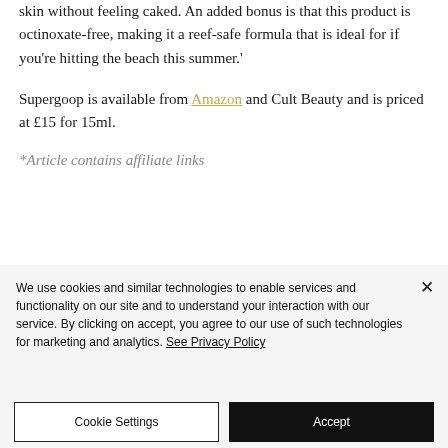skin without feeling caked. An added bonus is that this product is octinoxate-free, making it a reef-safe formula that is ideal for if you're hitting the beach this summer.'
Supergoop is available from Amazon and Cult Beauty and is priced at £15 for 15ml.
*Article contains affiliate links
We use cookies and similar technologies to enable services and functionality on our site and to understand your interaction with our service. By clicking on accept, you agree to our use of such technologies for marketing and analytics. See Privacy Policy